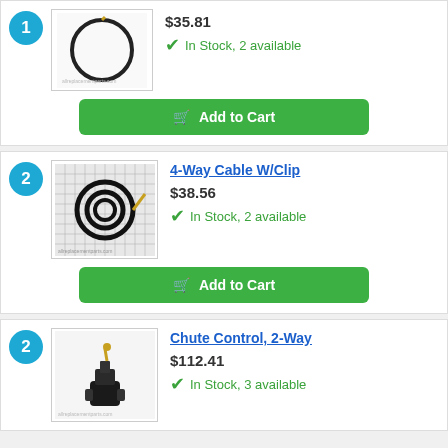[Figure (photo): Circular cable/wire product on white background]
$35.81
In Stock, 2 available
Add to Cart
4-Way Cable W/Clip
[Figure (photo): Black cable/wire coiled on grid background]
$38.56
In Stock, 2 available
Add to Cart
Chute Control, 2-Way
[Figure (photo): Chute control part on white background]
$112.41
In Stock, 3 available